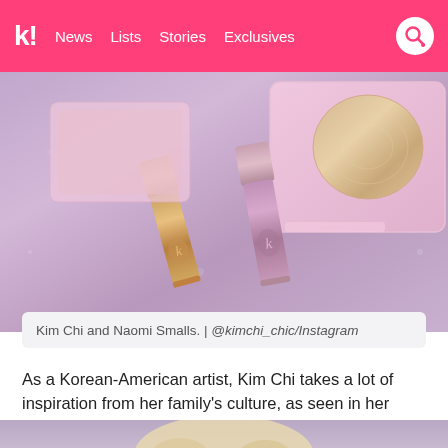k! | News | Lists | Stories | Exclusives
[Figure (photo): Makeup products — two lip gloss tubes with metallic gold and pink/purple shimmer finishes, alongside a pink palette with a large shimmer highlight pan, arranged on a holographic glittery background.]
Kim Chi and Naomi Smalls. | @kimchi_chic/Instagram
As a Korean-American artist, Kim Chi takes a lot of inspiration from her family's culture, as seen in her drag name and various performance outfits.
[Figure (photo): Partial view of a person with a large blonde curly wig on a lavender/purple background, bottom portion visible.]